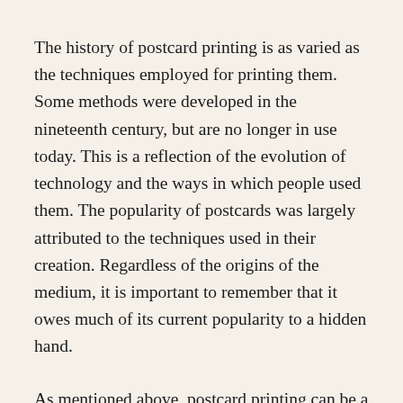The history of postcard printing is as varied as the techniques employed for printing them. Some methods were developed in the nineteenth century, but are no longer in use today. This is a reflection of the evolution of technology and the ways in which people used them. The popularity of postcards was largely attributed to the techniques used in their creation. Regardless of the origins of the medium, it is important to remember that it owes much of its current popularity to a hidden hand.
As mentioned above, postcard printing can be a cost-effective and versatile way to market a business. The versatility of postcards makes them great for both personal and commercial use. You can customize them for special occasions or send them with optional envelopes. For instance, if you are a freelance graphic designer, postcards are a great way to show off your